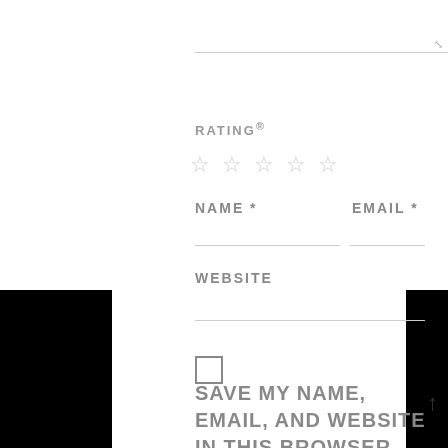RATING®
☆☆☆☆☆
NAME *
EMAIL *
WEBSITE
PREVIOUS POST
NEXT POST
SAVE MY NAME, EMAIL, AND WEBSITE IN THIS BROWSER FOR THE NEXT